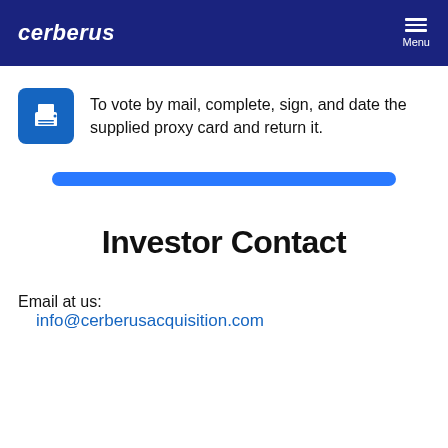cerberus | Menu
To vote by mail, complete, sign, and date the supplied proxy card and return it.
[Figure (other): Blue horizontal bar divider]
Investor Contact
Email at us:
info@cerberusacquisition.com